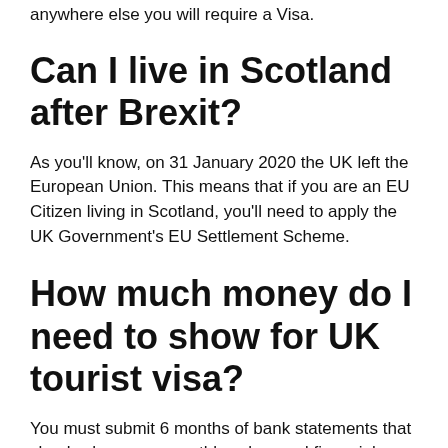anywhere else you will require a Visa.
Can I live in Scotland after Brexit?
As you'll know, on 31 January 2020 the UK left the European Union. This means that if you are an EU Citizen living in Scotland, you'll need to apply the UK Government's EU Settlement Scheme.
How much money do I need to show for UK tourist visa?
You must submit 6 months of bank statements that clearly show your monthly salary and financial commitments. There are no set rules about how much funds are needed but...